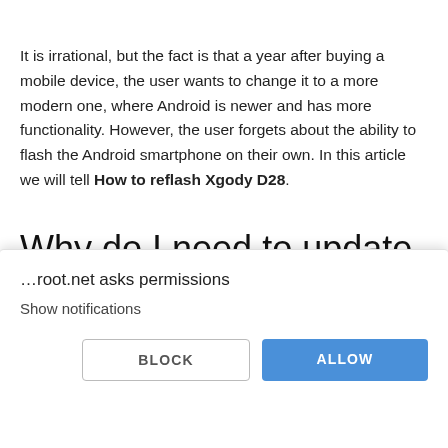It is irrational, but the fact is that a year after buying a mobile device, the user wants to change it to a more modern one, where Android is newer and has more functionality. However, the user forgets about the ability to flash the Android smartphone on their own. In this article we will tell How to reflash Xgody D28.
Why do I need to update the firmware on the Xgody D28?
[Figure (screenshot): Browser permission dialog overlay: '…root.net asks permissions' with 'Show notifications' and two buttons: BLOCK and ALLOW]
…root.net asks permissions
Show notifications
BLOCK
ALLOW